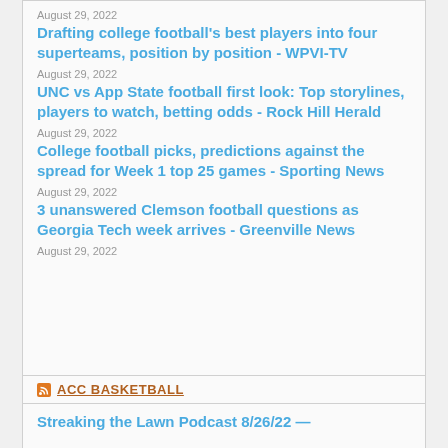August 29, 2022
Drafting college football's best players into four superteams, position by position - WPVI-TV
August 29, 2022
UNC vs App State football first look: Top storylines, players to watch, betting odds - Rock Hill Herald
August 29, 2022
College football picks, predictions against the spread for Week 1 top 25 games - Sporting News
August 29, 2022
3 unanswered Clemson football questions as Georgia Tech week arrives - Greenville News
August 29, 2022
ACC BASKETBALL
Streaking the Lawn Podcast 8/26/22 —